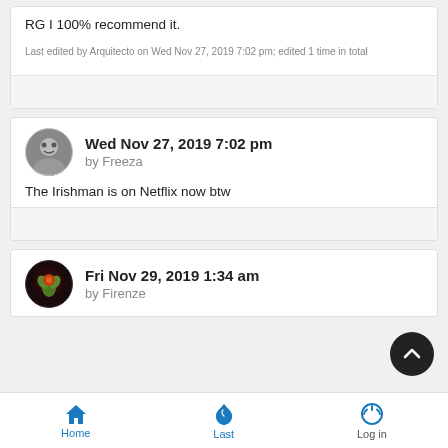RG I 100% recommend it.
Last edited by Arquitecto on Wed Nov 27, 2019 7:02 pm; edited 1 time in total
Wed Nov 27, 2019 7:02 pm
by Freeza
The Irishman is on Netflix now btw
Fri Nov 29, 2019 1:34 am
by Firenze
Home  Last  Log in